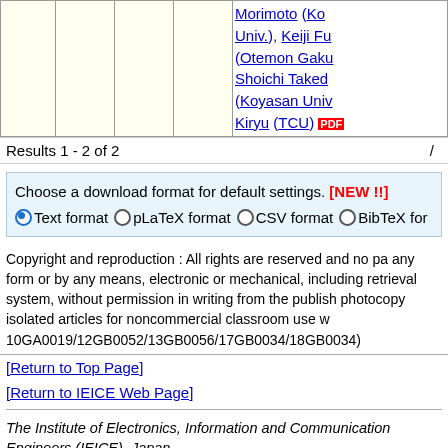|  |  |  |  | Morimoto (Ko Univ.), Keiji Fu (Otemon Gaku Shoichi Taked (Koyasan Univ Kiryu (TCU) |
Results 1 - 2 of 2   /
Choose a download format for default settings. [NEW !!]
Text format  pLaTeX format  CSV format  BibTeX for
Copyright and reproduction : All rights are reserved and no pa any form or by any means, electronic or mechanical, including retrieval system, without permission in writing from the publish photocopy isolated articles for noncommercial classroom use w 10GA0019/12GB0052/13GB0056/17GB0034/18GB0034)
[Return to Top Page]
[Return to IEICE Web Page]
The Institute of Electronics, Information and Communication Engineers (IEICE), Japan